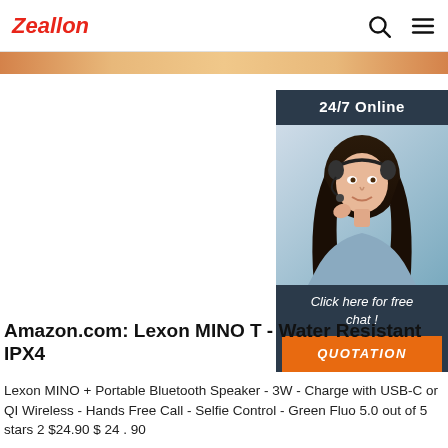Zeallon
[Figure (screenshot): Website banner strip with copper/bronze gradient color]
[Figure (photo): Sidebar widget showing 24/7 Online customer service with photo of woman with headset, dark navy background, Click here for free chat!, and orange QUOTATION button]
Amazon.com: Lexon MINO T - Water Resistant IPX4
Lexon MINO + Portable Bluetooth Speaker - 3W - Charge with USB-C or QI Wireless - Hands Free Call - Selfie Control - Green Fluo 5.0 out of 5 stars 2 $24.90 $ 24 . 90